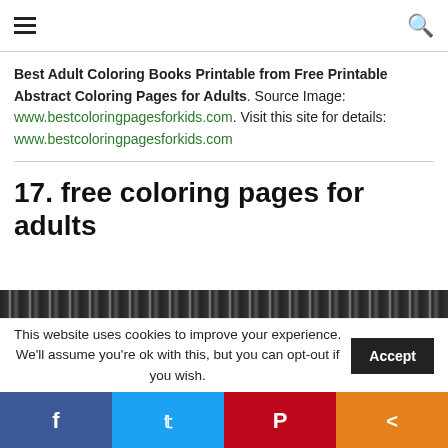Navigation header with hamburger menu and search icon
Best Adult Coloring Books Printable from Free Printable Abstract Coloring Pages for Adults. Source Image: www.bestcoloringpagesforkids.com. Visit this site for details: www.bestcoloringpagesforkids.com
17. free coloring pages for adults
[Figure (illustration): Partial view of a coloring page illustration showing decorative patterns in black and white]
This website uses cookies to improve your experience. We'll assume you're ok with this, but you can opt-out if you wish. Accept
Social share bar: Facebook, Twitter, Pinterest, Share